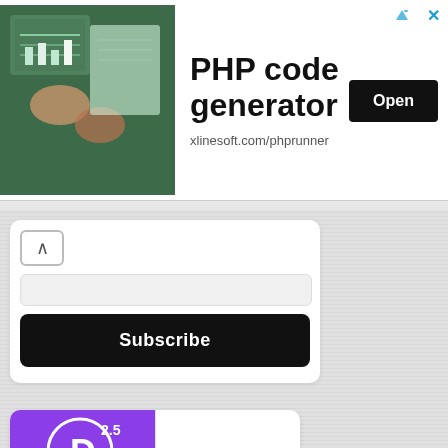[Figure (screenshot): Ad banner for PHP code generator by xlinesoft.com/phprunner with photo of person using tablet, bold title text, and Open button]
Subscribe
[Figure (logo): Divi 2.5 WordPress Theme advertisement with purple background, D circle logo, WordPress Theme text, and GET DIVI 2.5 red button]
Advertise Here